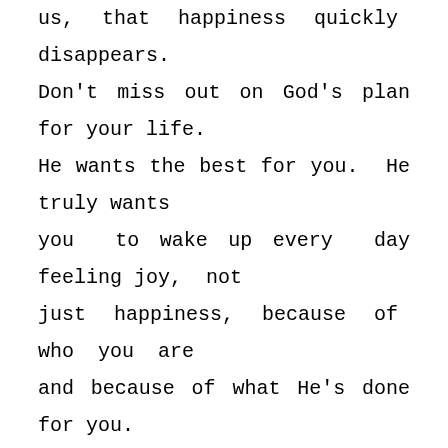us, that happiness quickly disappears. Don't miss out on God's plan for your life. He wants the best for you. He truly wants you to wake up every day feeling joy, not just happiness, because of who you are and because of what He's done for you.

I challenge you to start each day by looking in the mirror and seeing yourself as a child of God. Realize that He loves you, He's forgiven you, He extends to you His never-ending mercy and grace, and He wants you to live joyfully, knowing